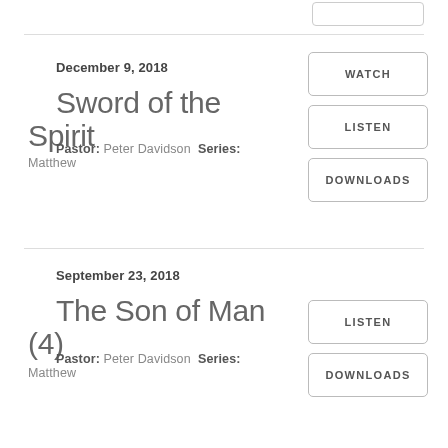December 9, 2018
Sword of the Spirit
Pastor: Peter Davidson Series: Matthew
September 23, 2018
The Son of Man (4)
Pastor: Peter Davidson Series: Matthew